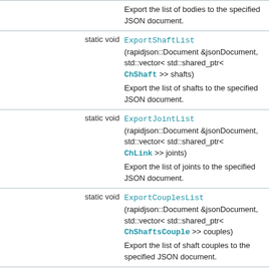|  |  |
| --- | --- |
| static void | ExportShaftList (rapidjson::Document &jsonDocument, std::vector< std::shared_ptr< ChShaft >> shafts)
Export the list of shafts to the specified JSON document. |
| static void | ExportJointList (rapidjson::Document &jsonDocument, std::vector< std::shared_ptr< ChLink >> joints)
Export the list of joints to the specified JSON document. |
| static void | ExportCouplesList (rapidjson::Document &jsonDocument, std::vector< std::shared_ptr< ChShaftsCouple >> couples)
Export the list of shaft couples to the specified JSON document. |
| static void | ExportMarkerList (rapidjson::Document &jsonDocument, std::vector< std::shared_ptr< ChMarker >> markers)
Export the list of markers to the specified JSON document. |
| static void | ExportLinSpringList (rapidjson::Document &jsonDocument, std::vector< std::shared_ptr< ChLinkTSDA >> springs)
Export the list of translational springs to the |